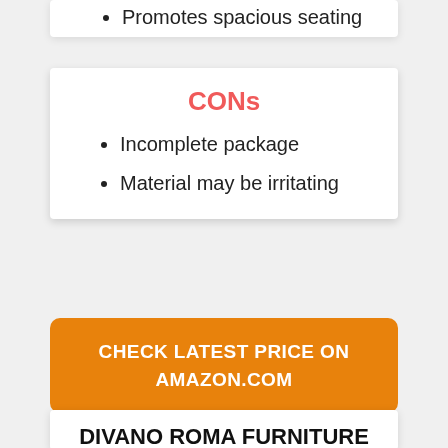Promotes spacious seating
CONs
Incomplete package
Material may be irritating
CHECK LATEST PRICE ON AMAZON.COM
DIVANO ROMA FURNITURE